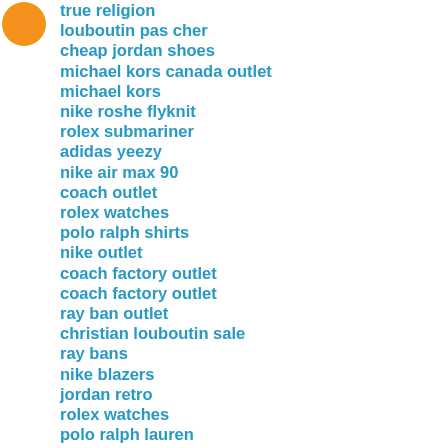[Figure (logo): Orange circular logo/icon in top-left corner]
true religion
louboutin pas cher
cheap jordan shoes
michael kors canada outlet
michael kors
nike roshe flyknit
rolex submariner
adidas yeezy
nike air max 90
coach outlet
rolex watches
polo ralph shirts
nike outlet
coach factory outlet
coach factory outlet
ray ban outlet
christian louboutin sale
ray bans
nike blazers
jordan retro
rolex watches
polo ralph lauren
coach outlet store online